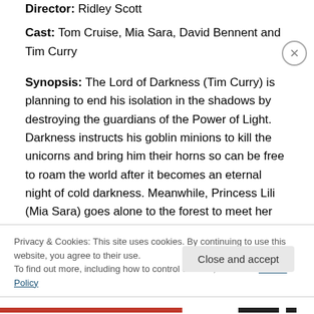Director: Ridley Scott
Cast: Tom Cruise, Mia Sara, David Bennent and Tim Curry
Synopsis: The Lord of Darkness (Tim Curry) is planning to end his isolation in the shadows by destroying the guardians of the Power of Light. Darkness instructs his goblin minions to kill the unicorns and bring him their horns so can be free to roam the world after it becomes an eternal night of cold darkness. Meanwhile, Princess Lili (Mia Sara) goes alone to the forest to meet her friend Jack
Privacy & Cookies: This site uses cookies. By continuing to use this website, you agree to their use.
To find out more, including how to control cookies, see here: Cookie Policy
Close and accept